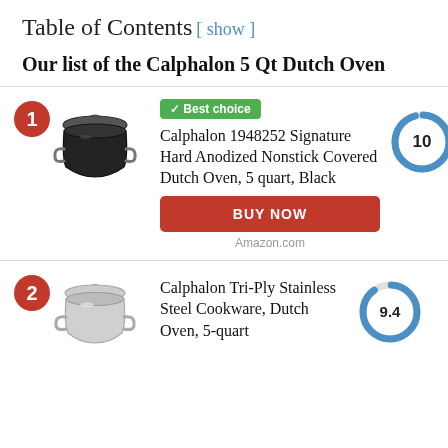Table of Contents [ show ]
Our list of the Calphalon 5 Qt Dutch Oven
[Figure (other): Product card 1 with rank badge '1' in red circle, image of black Dutch oven, 'Best choice' green badge, product name, score donut chart showing 10, and BUY NOW button]
Amazon.com
[Figure (other): Product card 2 with rank badge '2' in red circle, image of stainless steel Dutch oven, product name, and score donut chart showing 9.4]